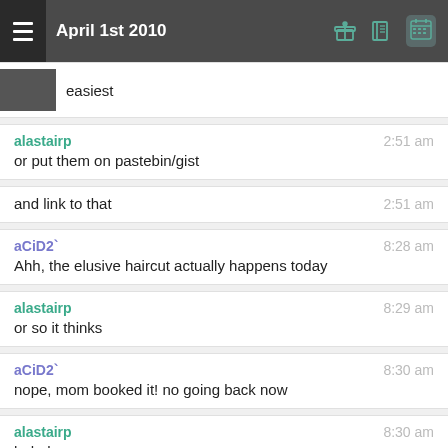April 1st 2010
easiest
alastairp  2:51 am
or put them on pastebin/gist
and link to that  2:51 am
aCiD2`  8:28 am
Ahh, the elusive haircut actually happens today
alastairp  8:29 am
or so it thinks
aCiD2`  8:30 am
nope, mom booked it! no going back now
alastairp  8:30 am
hahaha